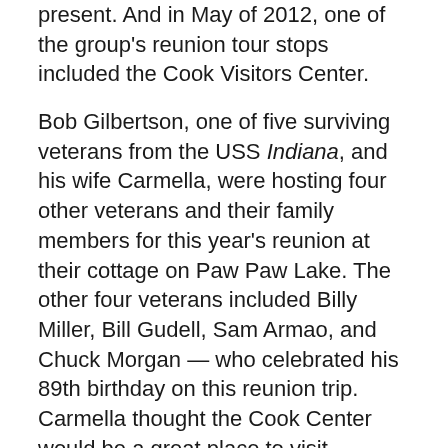present. And in May of 2012, one of the group's reunion tour stops included the Cook Visitors Center.
Bob Gilbertson, one of five surviving veterans from the USS Indiana, and his wife Carmella, were hosting four other veterans and their family members for this year's reunion at their cottage on Paw Paw Lake. The other four veterans included Billy Miller, Bill Gudell, Sam Armao, and Chuck Morgan — who celebrated his 89th birthday on this reunion trip. Carmella thought the Cook Center would be a great place to visit.
“We had never seen the Cook Plant ourselves in the time we’d been living in this area and thought it would be both interesting and fun for the whole gang,” Carmella said.
The group enjoyed their Cook tour and shared some stories about their experiences in the war from the torpedo